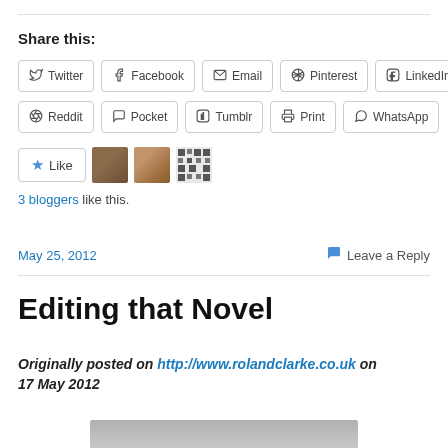Share this:
Twitter | Facebook | Email | Pinterest | LinkedIn
Reddit | Pocket | Tumblr | Print | WhatsApp
3 bloggers like this.
May 25, 2012   Leave a Reply
Editing that Novel
Originally posted on http://www.rolandclarke.co.uk on 17 May 2012
[Figure (photo): Partial image of a book or document at the bottom of the page]